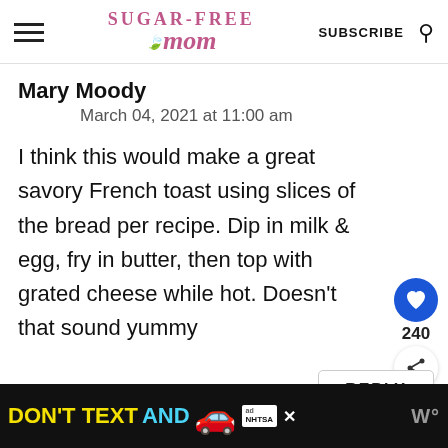Sugar-Free Mom | SUBSCRIBE
Mary Moody
March 04, 2021 at 11:00 am
I think this would make a great savory French toast using slices of the bread per recipe. Dip in milk & egg, fry in butter, then top with grated cheese while hot. Doesn't that sound yummy
REPLY
[Figure (screenshot): Ad banner at bottom: DON'T TEXT AND [car emoji] ad NHTSA close button, WP logo]
DON'T TEXT AND